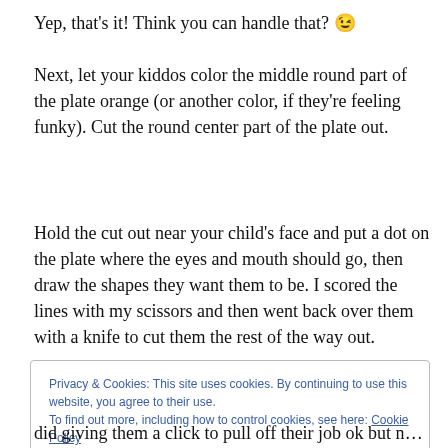Yep, that's it! Think you can handle that? 😉
Next, let your kiddos color the middle round part of the plate orange (or another color, if they're feeling funky). Cut the round center part of the plate out.
Hold the cut out near your child's face and put a dot on the plate where the eyes and mouth should go, then draw the shapes they want them to be. I scored the lines with my scissors and then went back over them with a knife to cut them the rest of the way out.
Privacy & Cookies: This site uses cookies. By continuing to use this website, you agree to their use.
To find out more, including how to control cookies, see here: Cookie Policy
did giving them a click to pull off their job ok but now and it